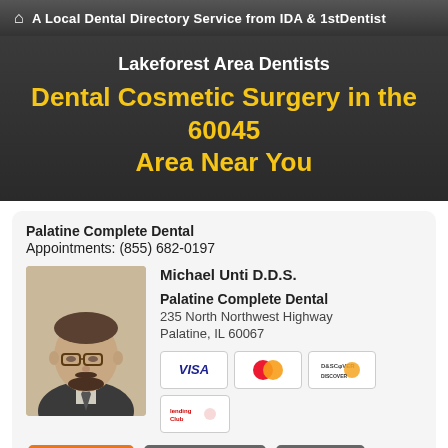A Local Dental Directory Service from IDA & 1stDentist
Lakeforest Area Dentists
Dental Cosmetic Surgery in the 60045 Area Near You
Palatine Complete Dental
Appointments: (855) 682-0197
[Figure (photo): Headshot photo of Michael Unti D.D.S., a middle-aged man with glasses and a beard wearing a suit and tie]
Michael Unti D.D.S.
Palatine Complete Dental
235 North Northwest Highway
Palatine, IL 60067
[Figure (other): Payment method icons: VISA, MasterCard, Discover, LendingClub]
Make Appt   Meet Dr. Unti   Website
more info ...